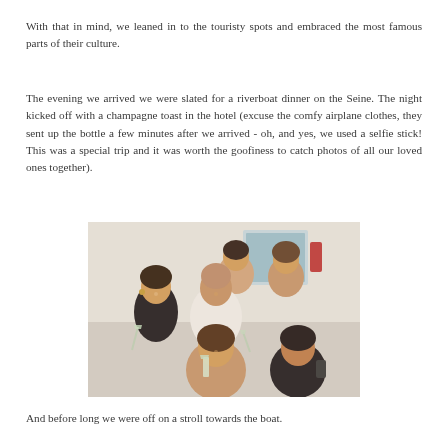With that in mind, we leaned in to the touristy spots and embraced the most famous parts of their culture.
The evening we arrived we were slated for a riverboat dinner on the Seine. The night kicked off with a champagne toast in the hotel (excuse the comfy airplane clothes, they sent up the bottle a few minutes after we arrived - oh, and yes, we used a selfie stick! This was a special trip and it was worth the goofiness to catch photos of all our loved ones together).
[Figure (photo): Group of five people smiling and raising champagne glasses in a hotel room, selfie-stick photo]
And before long we were off on a stroll towards the boat.